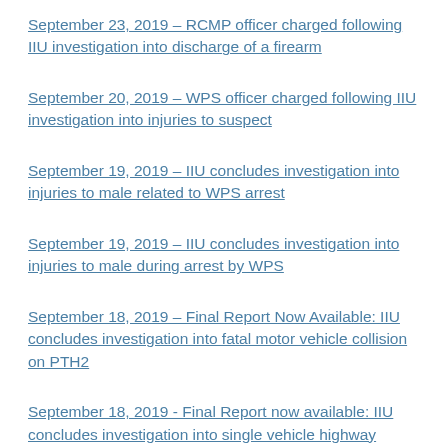September 23, 2019 – RCMP officer charged following IIU investigation into discharge of a firearm
September 20, 2019 – WPS officer charged following IIU investigation into injuries to suspect
September 19, 2019 – IIU concludes investigation into injuries to male related to WPS arrest
September 19, 2019 – IIU concludes investigation into injuries to male during arrest by WPS
September 18, 2019 – Final Report Now Available: IIU concludes investigation into fatal motor vehicle collision on PTH2
September 18, 2019 - Final Report now available: IIU concludes investigation into single vehicle highway